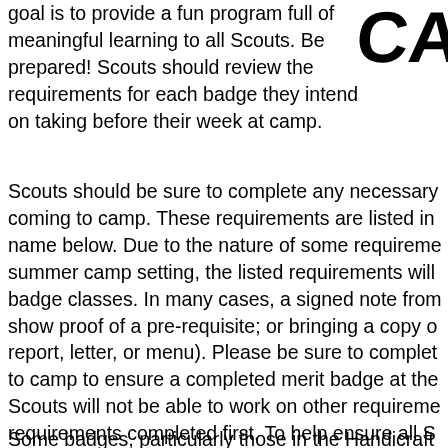goal is to provide a fun program full of meaningful learning to all Scouts. Be prepared! Scouts should review the requirements for each badge they intend on taking before their week at camp.
[Figure (logo): Partial camp/scouting logo with letters 'CA' visible in large bold text]
Scouts should be sure to complete any necessary coming to camp. These requirements are listed in name below. Due to the nature of some requireme summer camp setting, the listed requirements will badge classes. In many cases, a signed note from show proof of a pre-requisite; or bringing a copy o report, letter, or menu). Please be sure to complet to camp to ensure a completed merit badge at the Scouts will not be able to work on other requireme requirements completed first. To help ensure all S worthwhile merit badge experience, Scouts who h requisites prior to camp may be encouraged by th badge to take at that time (especially in the cases
Some badges, particularly those in the Handicraft